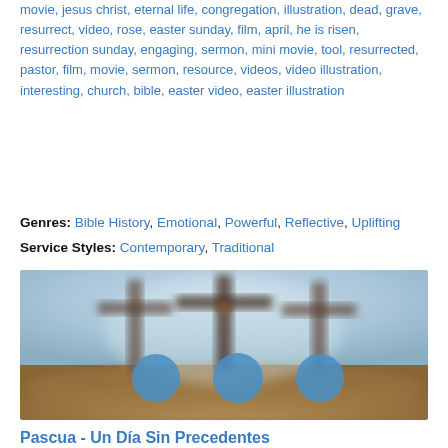movie, jesus christ, eternal life, congregation, illustration, dead, grave, resurrect, video, rose, easter sunday, film, april, he is risen, resurrection sunday, engaging, sermon, mini movie, tool, resurrected, pastor, film, movie, sermon, resource, videos, video illustration, interesting, church, bible, easter video, easter illustration
Genres: Bible History, Emotional, Powerful, Reflective, Uplifting
Service Styles: Contemporary, Traditional
[Figure (photo): Blurred image of three crosses with three blue circles overlaid, outdoor sky background, Easter/religious theme]
Pascua - Un Día Sin Precedentes